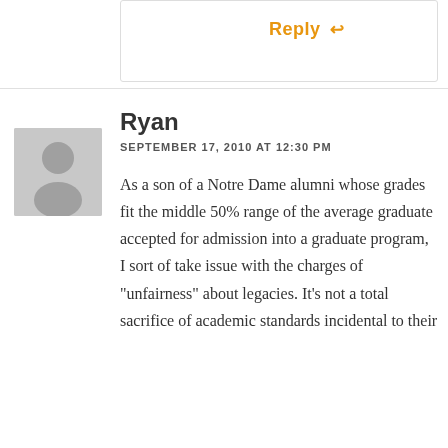Reply ↩
[Figure (illustration): Gray placeholder avatar silhouette of a person]
Ryan
SEPTEMBER 17, 2010 AT 12:30 PM
As a son of a Notre Dame alumni whose grades fit the middle 50% range of the average graduate accepted for admission into a graduate program, I sort of take issue with the charges of "unfairness" about legacies. It's not a total sacrifice of academic standards incidental to their